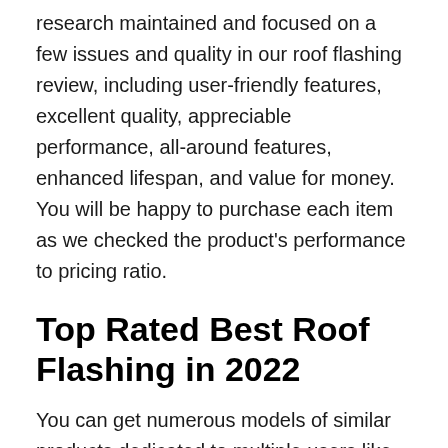research maintained and focused on a few issues and quality in our roof flashing review, including user-friendly features, excellent quality, appreciable performance, all-around features, enhanced lifespan, and value for money. You will be happy to purchase each item as we checked the product's performance to pricing ratio.
Top Rated Best Roof Flashing in 2022
You can get numerous models of similar products dedicated to multiple users like the roof flashing. Our selection of top 10 best roof flashing are made after comparing 20+ products to match user requirements. These products are superbly